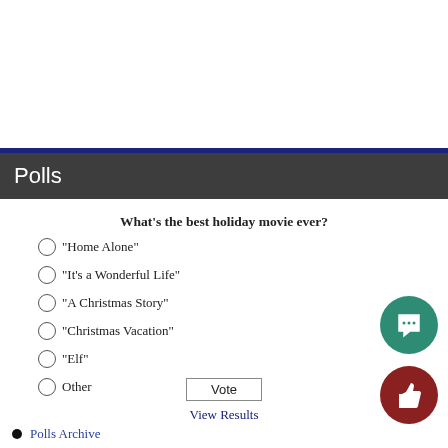Polls
What's the best holiday movie ever?
"Home Alone"
"It's a Wonderful Life"
"A Christmas Story"
"Christmas Vacation"
"Elf"
Other
Vote
View Results
Polls Archive